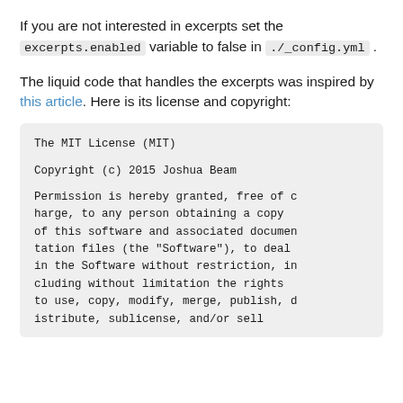If you are not interested in excerpts set the excerpts.enabled variable to false in ./_config.yml .
The liquid code that handles the excerpts was inspired by this article. Here is its license and copyright:
The MIT License (MIT)

Copyright (c) 2015 Joshua Beam

Permission is hereby granted, free of charge, to any person obtaining a copy of this software and associated documentation files (the "Software"), to deal in the Software without restriction, including without limitation the rights to use, copy, modify, merge, publish, distribute, sublicense, and/or sell